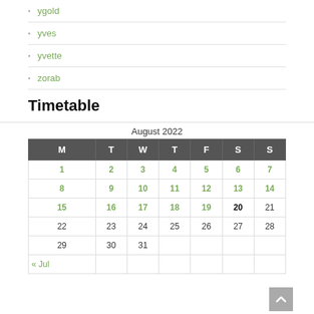ygold
yves
yvette
zorab
Timetable
| M | T | W | T | F | S | S |
| --- | --- | --- | --- | --- | --- | --- |
| 1 | 2 | 3 | 4 | 5 | 6 | 7 |
| 8 | 9 | 10 | 11 | 12 | 13 | 14 |
| 15 | 16 | 17 | 18 | 19 | 20 | 21 |
| 22 | 23 | 24 | 25 | 26 | 27 | 28 |
| 29 | 30 | 31 |  |  |  |  |
| « Jul |  |  |  |  |  |  |